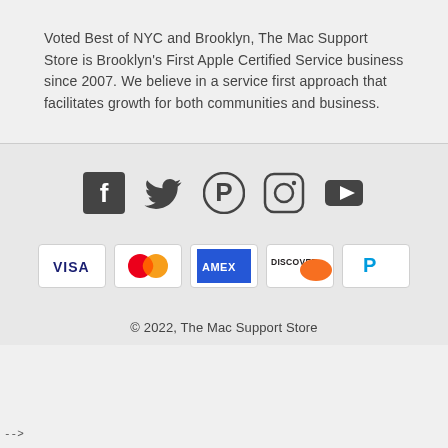Voted Best of NYC and Brooklyn, The Mac Support Store is Brooklyn's First Apple Certified Service business since 2007. We believe in a service first approach that facilitates growth for both communities and business.
[Figure (infographic): Row of social media icons: Facebook, Twitter, Pinterest, Instagram, YouTube]
[Figure (infographic): Row of payment method logos: VISA, Mastercard, AMEX, DISCOVER, PayPal]
© 2022, The Mac Support Store
-->